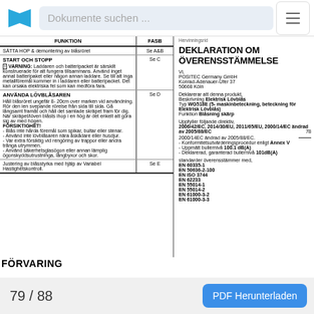Dokumente suchen ...
| FUNKTION | FASB |
| --- | --- |
| SÄTTA HOP & demontering av blåsröret | Se A&B |
| START OCH STOPP
VARNING: Laddaren och batteripacket är särskilt konstruerade för att fungera tillsammans. Använd inget annat batteripaket eller någon annan laddare. Se till att inga metallföremål kommer in i laddaren eller batteripacket. Det kan orsaka elektriska fel som kan medföra fara. | Se C |
| ANVÄNDA LÖVBLÅSAREN
Håll blåsröret ungefär 8-20 cm over marken vid användning.
Rör den ien svepande rörelse från sida till sida. Gå långsamt framåt och håll det samlade skräpet fram för dig.
När skräpet/löven blåsts ihop i en hög är det enkelt att göra sig av med högen.
FÖRSIKTIGHET!
- Blås inte hårda föremål som spikar, bultar eller stenar.
- Använd inte lövblåsaren nära åskådare eller husdjur.
- Var extra försiktig vid rengöring av trappor eller andra trånga utrymmen.
- Använd säkerhetsglasögon eller annan lämplig ögonskyddsutrustninga, långbyxor och skor. | Se D |
| Justering av blåsstyrka med hjälp av Variabel Hastighetskontroll. | Se E |
FÖRVARING
DEKLARATION OM ÖVERENSSTÄMMELSE
Vi,
POSITEC Germany GmbH
Konrad-Adenauer-Ufer 37
50668 Köln
Deklarerar att denna produkt,
Beskrivning Elektrisk Lövblås
Typ WG518E (5- maskinbeteckning, beteckning för Elektrisk Lövblås)
Funktion Blåsning skärp
Uppfyller följande direktiv,
2006/42/EC, 2014/30/EU, 2011/65/EU, 2000/14/EC ändrad av 2005/88/EC
2000/14EC ändrad av 2005/88/EC.
- Konformitetsutvärderingsprocedur enligt Annex V
- Uppmätt bullernivå 100.1 dB(A)
- Deklarerad, garanterad bullernivå 101dB(A)
standarder överensstämmer med,
EN 60335-1
EN 50636-2-100
EN ISO 3744
EN 62233
EN 55014-1
EN 55014-2
EN 61000-3-2
EN 61000-3-3
79 / 88